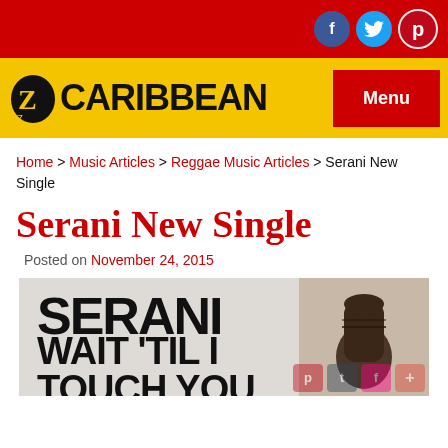EZCaribbean header with social icons (Facebook, Twitter, Pinterest) and yellow bar with logo and Menu button
Home > Music Articles > Reggae Music Articles > Serani New Single
Serani New Single
Posted on November 24, 2015
[Figure (photo): Album/single cover art showing 'SERANI WAIT 'TIL I TOUCH YOU' text in bold black on light background with a raised fist on the right side, and social sharing icons overlay]